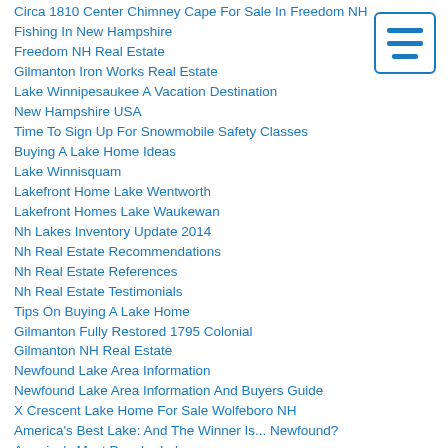Circa 1810 Center Chimney Cape For Sale In Freedom NH
Fishing In New Hampshire
Freedom NH Real Estate
Gilmanton Iron Works Real Estate
Lake Winnipesaukee A Vacation Destination
New Hampshire USA
Time To Sign Up For Snowmobile Safety Classes
Buying A Lake Home Ideas
Lake Winnisquam
Lakefront Home Lake Wentworth
Lakefront Homes Lake Waukewan
Nh Lakes Inventory Update 2014
Nh Real Estate Recommendations
Nh Real Estate References
Nh Real Estate Testimonials
Tips On Buying A Lake Home
Gilmanton Fully Restored 1795 Colonial
Gilmanton NH Real Estate
Newfound Lake Area Information
Newfound Lake Area Information And Buyers Guide
X Crescent Lake Home For Sale Wolfeboro NH
America's Best Lake: And The Winner Is... Newfound?
America's Most Popular Lake